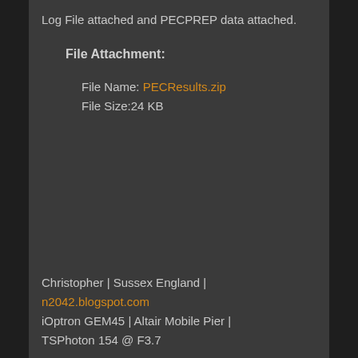Log File attached and PECPREP data attached.
File Attachment:
File Name: PECResults.zip
File Size:24 KB
Christopher | Sussex England | n2042.blogspot.com
iOptron GEM45 | Altair Mobile Pier | TSPhoton 154 @ F3.7